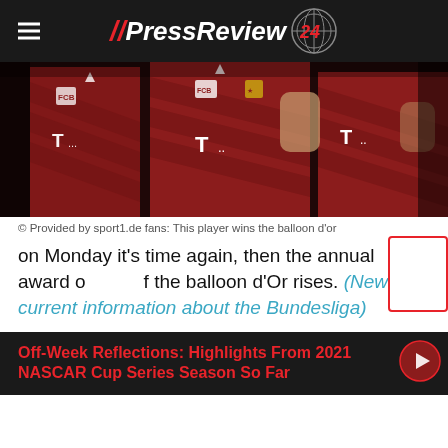PressReview24
[Figure (photo): Bayern Munich players in red jerseys with Telekom T-Mobile sponsor logos, grouped together on a dark pitch]
© Provided by sport1.de fans: This player wins the balloon d'or
on Monday it's time again, then the annual award of the balloon d'Or rises. (News: All current information about the Bundesliga)
Off-Week Reflections: Highlights From 2021 NASCAR Cup Series Season So Far